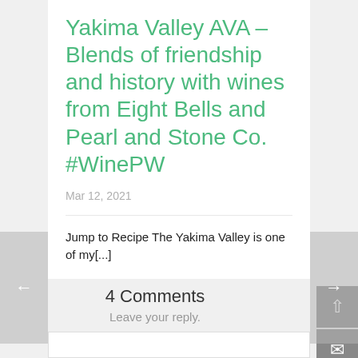Yakima Valley AVA – Blends of friendship and history with wines from Eight Bells and Pearl and Stone Co. #WinePW
Mar 12, 2021
Jump to Recipe The Yakima Valley is one of my[...]
4 Comments
Leave your reply.